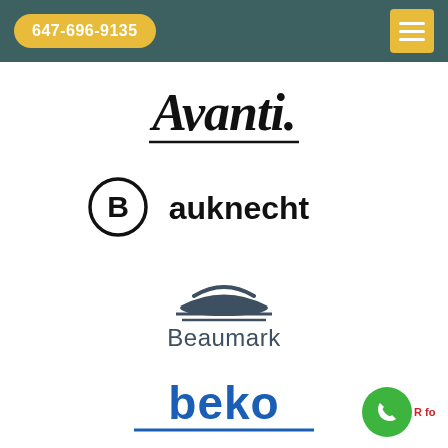647-696-9135
[Figure (logo): Avanti brand logo in stylized script font with underline]
[Figure (logo): Bauknecht brand logo with circular B icon and bold sans-serif text]
[Figure (logo): Beaumark brand logo with dome/sunrise graphic above text]
[Figure (logo): beko brand logo in lowercase bold blue text with underline]